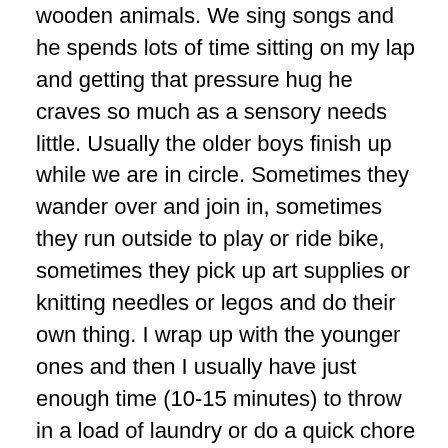wooden animals. We sing songs and he spends lots of time sitting on my lap and getting that pressure hug he craves so much as a sensory needs little. Usually the older boys finish up while we are in circle. Sometimes they wander over and join in, sometimes they run outside to play or ride bike, sometimes they pick up art supplies or knitting needles or legos and do their own thing. I wrap up with the younger ones and then I usually have just enough time (10-15 minutes) to throw in a load of laundry or do a quick chore or answer emails or scream into a pillow. On some hours, we all finish at the same time and we go outside to enjoy our farm and play in the back hollow together. Or sometimes the elders will be working and the littles need something hands on so we leave the classroom and go to the kitchen to bake bread or assemble a pie while the elder brothers wrap things up in